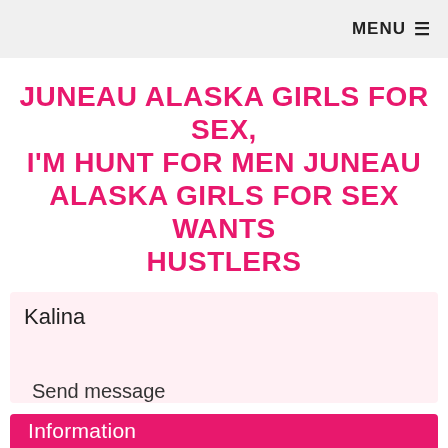MENU ☰
JUNEAU ALASKA GIRLS FOR SEX, I'M HUNT FOR MEN JUNEAU ALASKA GIRLS FOR SEX WANTS HUSTLERS
Kalina
Send message
Information